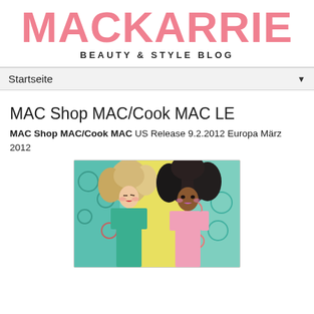MACKARRIE
BEAUTY & STYLE BLOG
Startseite
MAC Shop MAC/Cook MAC LE
MAC Shop MAC/Cook MAC US Release 9.2.2012 Europa März 2012
[Figure (photo): Two female models with voluminous hair against a colorful retro pop-art background. Left model wears green, right model wears pink.]